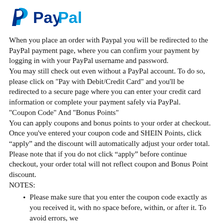[Figure (logo): PayPal logo with blue P icon and PayPal wordmark in dark blue and light blue]
When you place an order with Paypal you will be redirected to the PayPal payment page, where you can confirm your payment by logging in with your PayPal username and password.
You may still check out even without a PayPal account. To do so, please click on "Pay with Debit/Credit Card" and you'll be redirected to a secure page where you can enter your credit card information or complete your payment safely via PayPal.
"Coupon Code" And "Bonus Points"
You can apply coupons and bonus points to your order at checkout. Once you've entered your coupon code and SHEIN Points, click “apply” and the discount will automatically adjust your order total. Please note that if you do not click “apply” before continue checkout, your order total will not reflect coupon and Bonus Point discount.
NOTES:
Please make sure that you enter the coupon code exactly as you received it, with no space before, within, or after it. To avoid errors, we